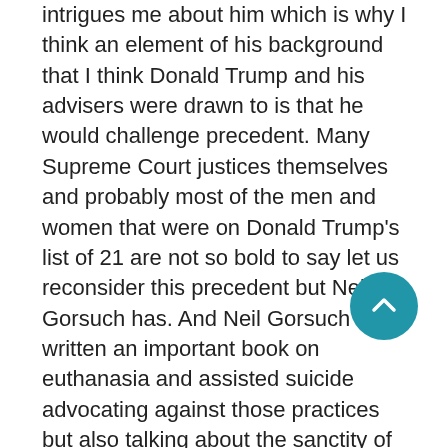intrigues me about him which is why I think an element of his background that I think Donald Trump and his advisers were drawn to is that he would challenge precedent. Many Supreme Court justices themselves and probably most of the men and women that were on Donald Trump's list of 21 are not so bold to say let us reconsider this precedent but Neil Gorsuch has. And Neil Gorsuch has written an important book on euthanasia and assisted suicide advocating against those practices but also talking about the sanctity of human life. I think again that probably drew Donald Trump to him because he's a thinker an intellectual conservative as Justice Scalia was but it also means that he will likely be bolder perhaps like Robert Bork in what he wants to do on the Supreme Court.
[EC] And I think the question will be: can the senators convey that to the American people or for that matter can the public interest groups that are opposing Gorsuch